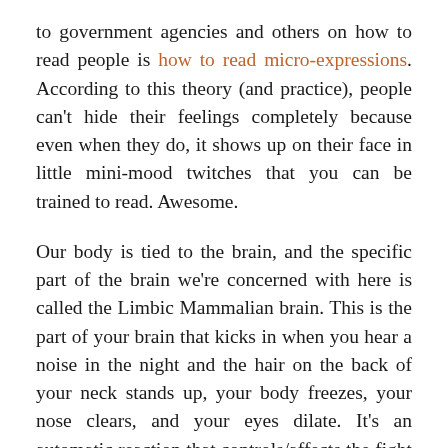to government agencies and others on how to read people is how to read micro-expressions. According to this theory (and practice), people can't hide their feelings completely because even when they do, it shows up on their face in little mini-mood twitches that you can be trained to read. Awesome.
Our body is tied to the brain, and the specific part of the brain we're concerned with here is called the Limbic Mammalian brain. This is the part of your brain that kicks in when you hear a noise in the night and the hair on the back of your neck stands up, your body freezes, your nose clears, and your eyes dilate. It's an automatic reaction that controls/affects the fight / flight / freeze response. This response is involuntary. It also kicks in when there are positive feelings such as sexual attraction (stop giggling, I'm trying to type here), hunger and pain. This part of